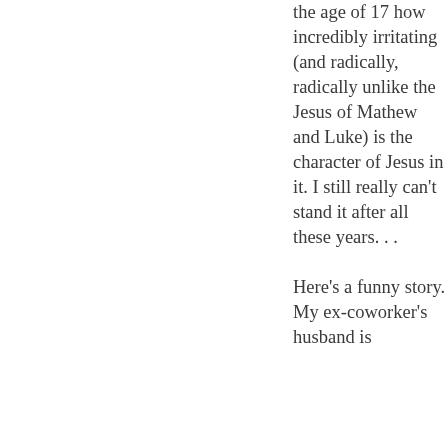the age of 17 how incredibly irritating (and radically, radically unlike the Jesus of Mathew and Luke) is the character of Jesus in it. I still really can't stand it after all these years. . .

Here's a funny story. My ex-coworker's husband is